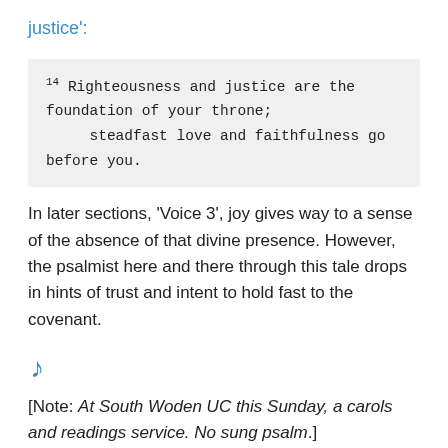justice':
14 Righteousness and justice are the foundation of your throne;
        steadfast love and faithfulness go before you.
In later sections, 'Voice 3', joy gives way to a sense of the absence of that divine presence. However, the psalmist here and there through this tale drops in hints of trust and intent to hold fast to the covenant.
[Figure (illustration): Musical note icon (blue)]
[Note: At South Woden UC this Sunday, a carols and readings service. No sung psalm.]